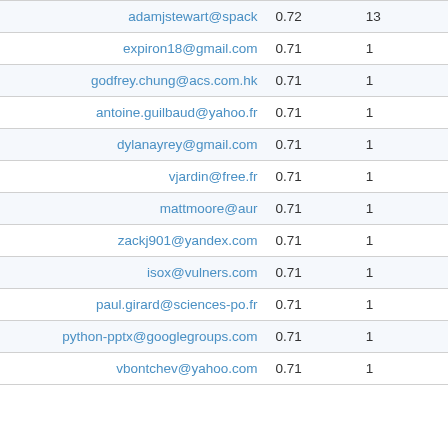| adamjstewart@spack | 0.72 | 13 |
| expiron18@gmail.com | 0.71 | 1 |
| godfrey.chung@acs.com.hk | 0.71 | 1 |
| antoine.guilbaud@yahoo.fr | 0.71 | 1 |
| dylanayrey@gmail.com | 0.71 | 1 |
| vjardin@free.fr | 0.71 | 1 |
| mattmoore@aur | 0.71 | 1 |
| zackj901@yandex.com | 0.71 | 1 |
| isox@vulners.com | 0.71 | 1 |
| paul.girard@sciences-po.fr | 0.71 | 1 |
| python-pptx@googlegroups.com | 0.71 | 1 |
| vbontchev@yahoo.com | 0.71 | 1 |